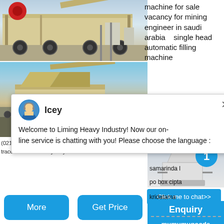[Figure (photo): Mobile crushing/screening machine on wheels in industrial yard]
machine for sale vacancy for mining engineer in saudi arabia single head automatic filling machine
[Figure (photo): Another mobile crusher/industrial machine on a flatbed trailer]
Welcome to Liming Heavy Industry! Now our on-line service is chatting with you! Please choose the language :
[Figure (photo): Cone crusher machinery with blue badge showing number 1]
Click me to chat>>
Enquiry
mumumugoods
(021-2),570 B947. 2€"P42n570 S200per engineer, da
trace coal mine and yearly
lau sebuku konsesi coal di
samarinda l
po box cipta
kridatama
More
Get Price